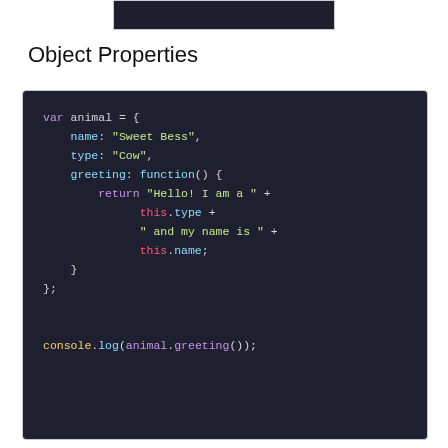[Figure (screenshot): Dark code editor screenshot strip at top of page]
Object Properties
[Figure (screenshot): Dark-themed code editor screenshot showing JavaScript object definition with var animal = { name: 'Sweet Bess', type: 'Cow', greeting: function() { return 'Hello! I am a ' + this.type + ' and my name is ' + this.name; } }; followed by console.log(animal.greeting());]